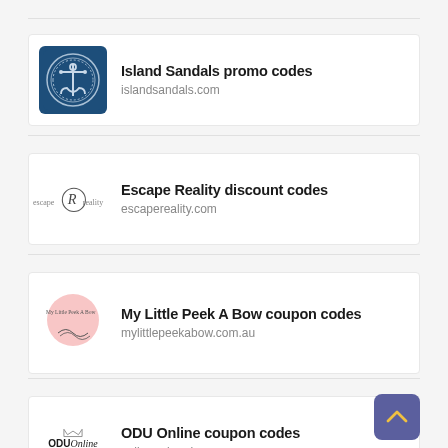Island Sandals promo codes
islandsandals.com
Escape Reality discount codes
escapereality.com
My Little Peek A Bow coupon codes
mylittlepeekabow.com.au
ODU Online coupon codes
online.odu.edu